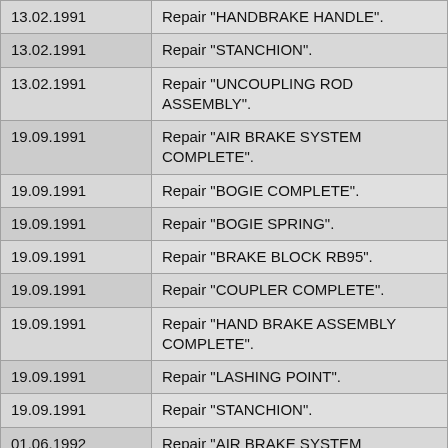| Date | Description |
| --- | --- |
| 13.02.1991 | Repair "HANDBRAKE HANDLE". |
| 13.02.1991 | Repair "STANCHION". |
| 13.02.1991 | Repair "UNCOUPLING ROD ASSEMBLY". |
| 19.09.1991 | Repair "AIR BRAKE SYSTEM COMPLETE". |
| 19.09.1991 | Repair "BOGIE COMPLETE". |
| 19.09.1991 | Repair "BOGIE SPRING". |
| 19.09.1991 | Repair "BRAKE BLOCK RB95". |
| 19.09.1991 | Repair "COUPLER COMPLETE". |
| 19.09.1991 | Repair "HAND BRAKE ASSEMBLY COMPLETE". |
| 19.09.1991 | Repair "LASHING POINT". |
| 19.09.1991 | Repair "STANCHION". |
| 01.06.1992 | Repair "AIR BRAKE SYSTEM COMPLETE". |
| 01.06.1992 | Repair "BOGIE COMPLETE". |
| 01.06.1992 | Repair "BOGIE SPRING". |
| 01.06.1992 | Repair "BRAKE BLOCK RB95". |